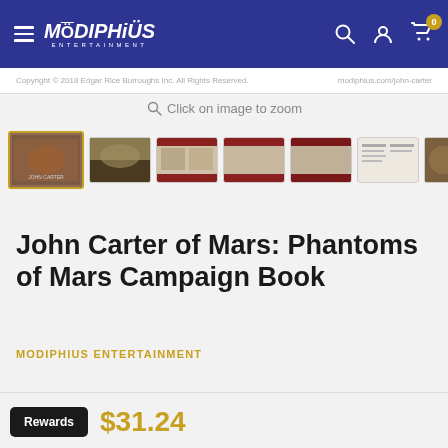Modiphius Entertainment — navigation bar
Copyright © 2018 Edgar Rice Burroughs Inc. All Rights Reserved.    modiphius.com/john-carter
Click on image to zoom
[Figure (screenshot): Thumbnail strip showing 7 product images for John Carter of Mars: Phantoms of Mars Campaign Book. First thumbnail is active with gold border.]
John Carter of Mars: Phantoms of Mars Campaign Book
MODIPHIUS ENTERTAINMENT
Rewards  $31.24